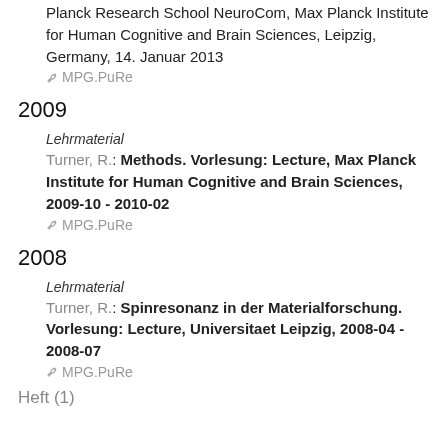Planck Research School NeuroCom, Max Planck Institute for Human Cognitive and Brain Sciences, Leipzig, Germany, 14. Januar 2013
🏷 MPG.PuRe
2009
Lehrmaterial
Turner, R.: Methods. Vorlesung: Lecture, Max Planck Institute for Human Cognitive and Brain Sciences, 2009-10 - 2010-02
🏷 MPG.PuRe
2008
Lehrmaterial
Turner, R.: Spinresonanz in der Materialforschung. Vorlesung: Lecture, Universitaet Leipzig, 2008-04 - 2008-07
🏷 MPG.PuRe
Heft (1)